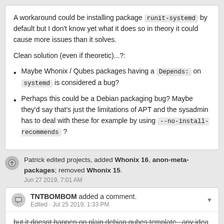A workaround could be installing package runit-systemd by default but I don't know yet what it does so in theory it could cause more issues than it solves.
Clean solution (even if theoretic)...?:
Maybe Whonix / Qubes packages having a Depends: on systemd is considered a bug?
Perhaps this could be a Debian packaging bug? Maybe they'd say that's just the limitations of APT and the sysadmin has to deal with these for example by using --no-install-recommends ?
Patrick edited projects, added Whonix 16, anon-meta-packages; removed Whonix 15.
Jun 27 2019, 7:01 AM
TNTBOMBOM added a comment.
Edited · Jul 25 2019, 1:33 PM
but it doesnt happen on plain debian qubes template , any idea why?